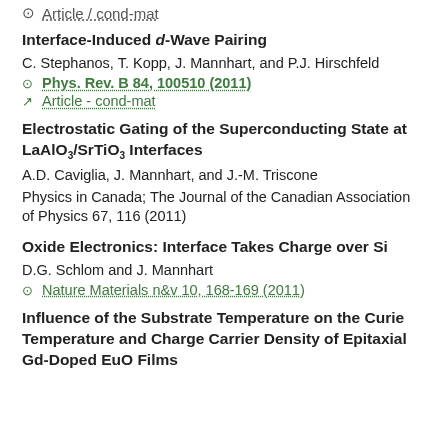Article / cond-mat
Interface-Induced d-Wave Pairing
C. Stephanos, T. Kopp, J. Mannhart, and P.J. Hirschfeld
Phys. Rev. B 84, 100510 (2011)
Article - cond-mat
Electrostatic Gating of the Superconducting State at LaAlO3/SrTiO3 Interfaces
A.D. Caviglia, J. Mannhart, and J.-M. Triscone
Physics in Canada; The Journal of the Canadian Association of Physics 67, 116 (2011)
Oxide Electronics: Interface Takes Charge over Si
D.G. Schlom and J. Mannhart
Nature Materials n&v 10, 168-169 (2011)
Influence of the Substrate Temperature on the Curie Temperature and Charge Carrier Density of Epitaxial Gd-Doped EuO Films